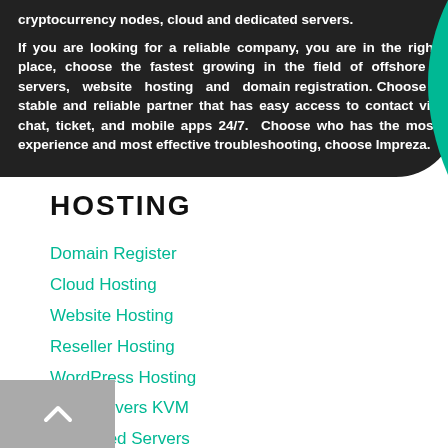cryptocurrency nodes, cloud and dedicated servers. If you are looking for a reliable company, you are in the right place, choose the fastest growing in the field of offshore servers, website hosting and domain registration. Choose a stable and reliable partner that has easy access to contact via chat, ticket, and mobile apps 24/7. Choose who has the most experience and most effective troubleshooting, choose Impreza.
HOSTING
Domain Register
Cloud Hosting
Website Hosting
Reseller Hosting
WordPress Hosting
VPS Servers KVM
Dedicated Servers